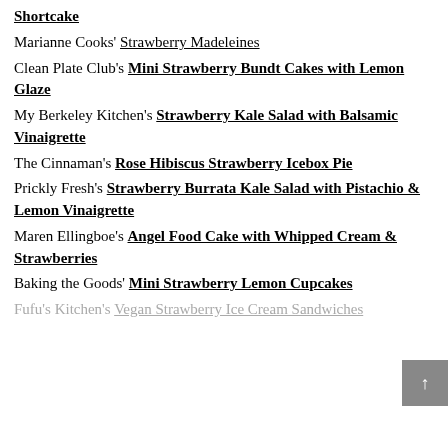Shortcake
Marianne Cooks' Strawberry Madeleines
Clean Plate Club's Mini Strawberry Bundt Cakes with Lemon Glaze
My Berkeley Kitchen's Strawberry Kale Salad with Balsamic Vinaigrette
The Cinnaman's Rose Hibiscus Strawberry Icebox Pie
Prickly Fresh's Strawberry Burrata Kale Salad with Pistachio & Lemon Vinaigrette
Maren Ellingboe's Angel Food Cake with Whipped Cream & Strawberries
Baking the Goods' Mini Strawberry Lemon Cupcakes
Fufu's Kitchen's Vegan Strawberry Ice Cream Sandwiches